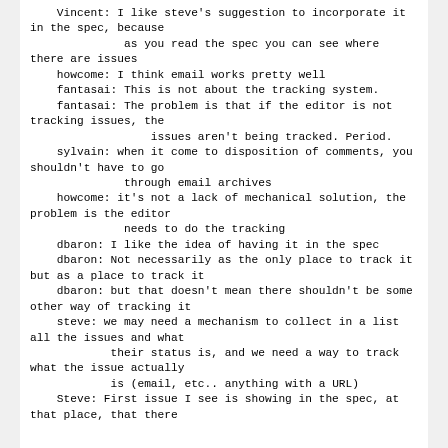Vincent: I like steve's suggestion to incorporate it in the spec, because
              as you read the spec you can see where there are issues
    howcome: I think email works pretty well
    fantasai: This is not about the tracking system.
    fantasai: The problem is that if the editor is not tracking issues, the
                  issues aren't being tracked. Period.
    sylvain: when it come to disposition of comments, you shouldn't have to go
              through email archives
    howcome: it's not a lack of mechanical solution, the problem is the editor
              needs to do the tracking
    dbaron: I like the idea of having it in the spec
    dbaron: Not necessarily as the only place to track it but as a place to track it
    dbaron: but that doesn't mean there shouldn't be some other way of tracking it
    steve: we may need a mechanism to collect in a list all the issues and what
            their status is, and we need a way to track what the issue actually
            is (email, etc.. anything with a URL)
    Steve: First issue I see is showing in the spec, at that place, that there